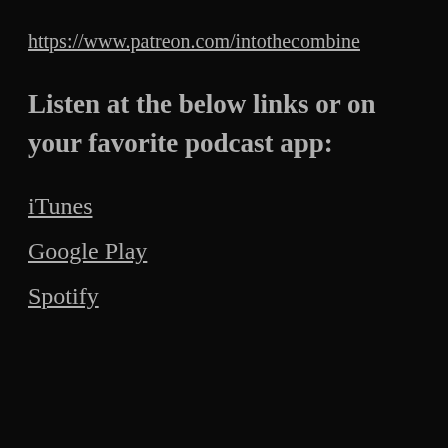https://www.patreon.com/intothecombine
Listen at the below links or on your favorite podcast app:
iTunes
Google Play
Spotify